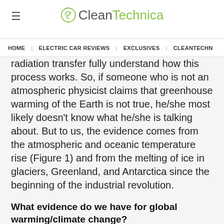CleanTechnica
HOME | ELECTRIC CAR REVIEWS | EXCLUSIVES | CLEANTECHN
radiation transfer fully understand how this process works. So, if someone who is not an atmospheric physicist claims that greenhouse warming of the Earth is not true, he/she most likely doesn't know what he/she is talking about. But to us, the evidence comes from the atmospheric and oceanic temperature rise (Figure 1) and from the melting of ice in glaciers, Greenland, and Antarctica since the beginning of the industrial revolution.
What evidence do we have for global warming/climate change?
Over 97% of climate scientists agree that